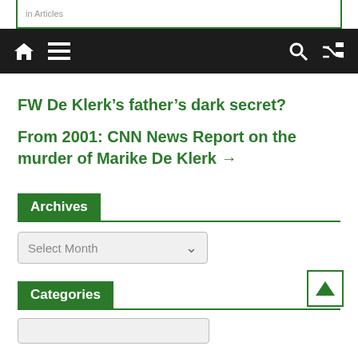in Articles
navigation bar with home, menu, search, shuffle icons
FW De Klerk’s father’s dark secret?
From 2001: CNN News Report on the murder of Marike De Klerk →
Archives
Select Month
Categories